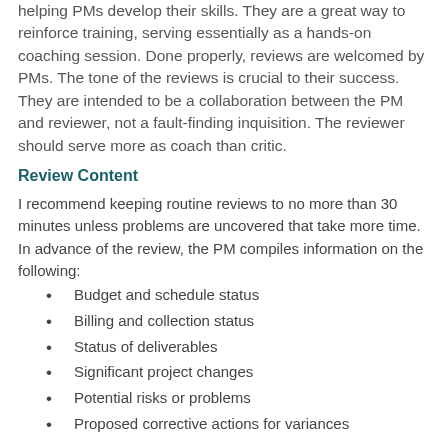helping PMs develop their skills. They are a great way to reinforce training, serving essentially as a hands-on coaching session. Done properly, reviews are welcomed by PMs. The tone of the reviews is crucial to their success. They are intended to be a collaboration between the PM and reviewer, not a fault-finding inquisition. The reviewer should serve more as coach than critic.
Review Content
I recommend keeping routine reviews to no more than 30 minutes unless problems are uncovered that take more time. In advance of the review, the PM compiles information on the following:
Budget and schedule status
Billing and collection status
Status of deliverables
Significant project changes
Potential risks or problems
Proposed corrective actions for variances